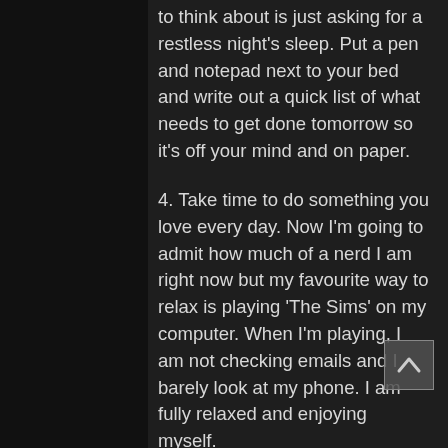to think about is just asking for a restless night's sleep. Put a pen and notepad next to your bed and write out a quick list of what needs to get done tomorrow so it's off your mind and on paper.
4. Take time to do something you love every day. Now I'm going to admit how much of a nerd I am right now but my favourite way to relax is playing 'The Sims' on my computer. When I'm playing, I am not checking emails and I barely look at my phone. I am fully relaxed and enjoying myself.
5. Be kind to yourself. Do things because you choose to and stop 'should-ing' everything. Listen to your